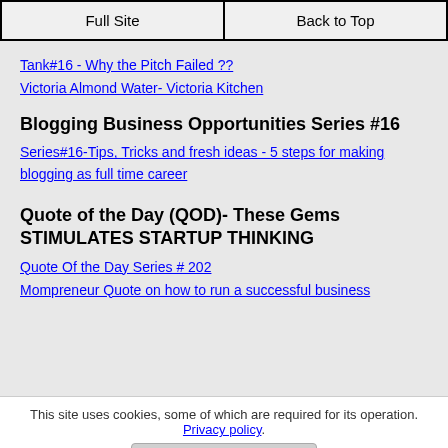Full Site | Back to Top
Tank#16 - Why the Pitch Failed ??
Victoria Almond Water- Victoria Kitchen
Blogging Business Opportunities Series #16
Series#16-Tips, Tricks and fresh ideas - 5 steps for making blogging as full time career
Quote of the Day (QOD)- These Gems STIMULATES STARTUP THINKING
Quote Of the Day Series # 202
Mompreneur Quote on how to run a successful business
This site uses cookies, some of which are required for its operation. Privacy policy.
Agree and Continue